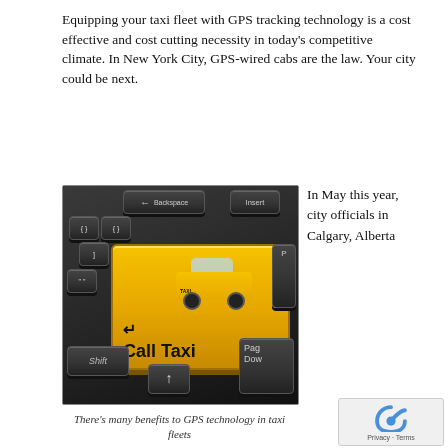Equipping your taxi fleet with GPS tracking technology is a cost effective and cost cutting necessity in today's competitive climate. In New York City, GPS-wired cabs are the law. Your city could be next.
[Figure (photo): Keyboard with a large yellow 'Call Taxi' Enter key with an arrow symbol, featuring a small yellow toy taxi cab sitting on top of it. Surrounding keys visible include Insert, Backspace, Shift, Page Down, and an up arrow key.]
In May this year, city officials in Calgary, Alberta
There's many benefits to GPS technology in taxi fleets